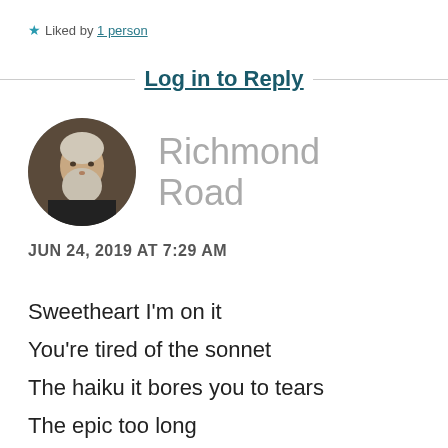★ Liked by 1 person
Log in to Reply
[Figure (photo): Circular avatar photo of an elderly man with a white beard and long white hair, wearing dark clothing, against a dark background.]
Richmond Road
JUN 24, 2019 AT 7:29 AM
Sweetheart I'm on it
You're tired of the sonnet
The haiku it bores you to tears
The epic too long